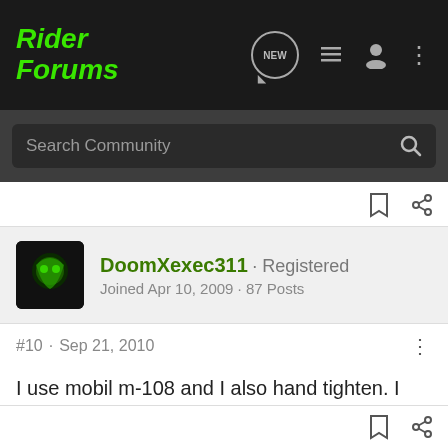RiderForums — navigation bar with logo, NEW, list, user, and menu icons
Search Community
DoomXexec311 · Registered
Joined Apr 10, 2009 · 87 Posts
#10 · Sep 21, 2010
I use mobil m-108 and I also hand tighten. I always make sure to wet the new oil filter seal with oil though.